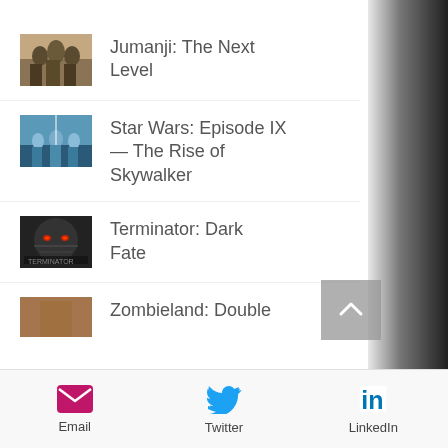Jumanji: The Next Level
Star Wars: Episode IX — The Rise of Skywalker
Terminator: Dark Fate
Zombieland: Double...
Email  Twitter  LinkedIn